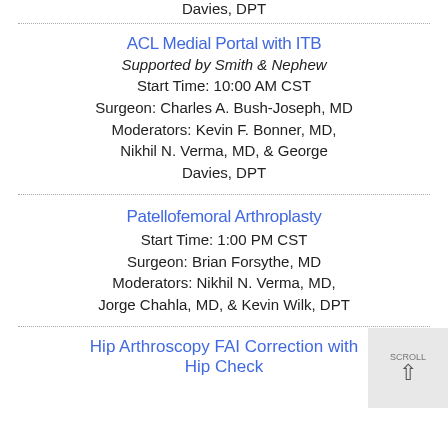Davies, DPT
ACL Medial Portal with ITB
Supported by Smith & Nephew
Start Time: 10:00 AM CST
Surgeon: Charles A. Bush-Joseph, MD
Moderators: Kevin F. Bonner, MD, Nikhil N. Verma, MD, & George Davies, DPT
Patellofemoral Arthroplasty
Start Time: 1:00 PM CST
Surgeon: Brian Forsythe, MD
Moderators: Nikhil N. Verma, MD, Jorge Chahla, MD, & Kevin Wilk, DPT
Hip Arthroscopy FAI Correction with Hip Check